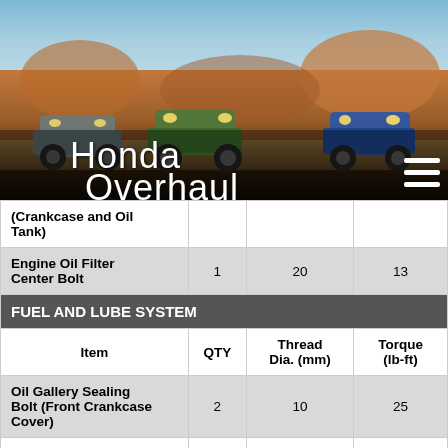[Figure (photo): Honda Overhaul website header showing three ATVs parked in a rocky desert landscape with the text 'Honda Overhaul' overlaid and a hamburger menu icon]
| Item | QTY | Thread Dia. (mm) | Torque (lb-ft) |
| --- | --- | --- | --- |
| (Crankcase and Oil Tank) |  |  |  |
| Engine Oil Filter Center Bolt | 1 | 20 | 13 |
| FUEL AND LUBE SYSTEM |  |  |  |
| Item | QTY | Thread Dia. (mm) | Torque (lb-ft) |
| Oil Gallery Sealing Bolt (Front Crankcase Cover) | 2 | 10 | 25 |
| Carburetor Insulator Band Screw | 2 | 5 | 2.9 |